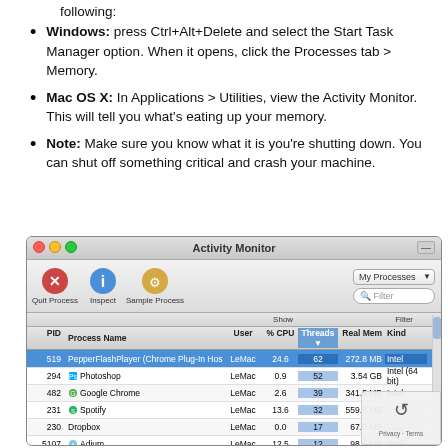following:
Windows: press Ctrl+Alt+Delete and select the Start Task Manager option. When it opens, click the Processes tab > Memory.
Mac OS X: In Applications > Utilities, view the Activity Monitor. This will tell you what's eating up your memory.
Note: Make sure you know what it is you're shutting down. You can shut off something critical and crash your machine.
[Figure (screenshot): Activity Monitor window on Mac OS X showing a list of running processes with columns for PID, Process Name, User, % CPU, Threads, Real Mem, and Kind. PepperFlashPlayer is highlighted in blue as the top process.]